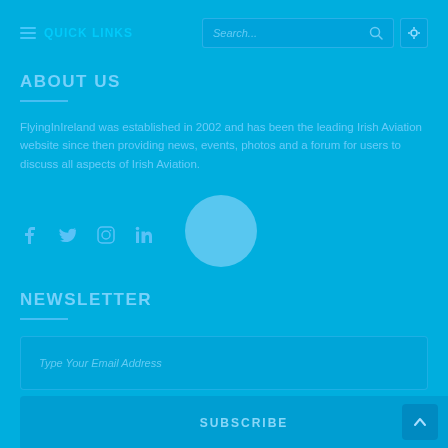QUICK LINKS
ABOUT US
FlyingInIreland was established in 2002 and has been the leading Irish Aviation website since then providing news, events, photos and a forum for users to discuss all aspects of Irish Aviation.
[Figure (infographic): Social media icons: Facebook, Twitter, Instagram, LinkedIn. Loading spinner circle overlay.]
NEWSLETTER
Type Your Email Address
SUBSCRIBE